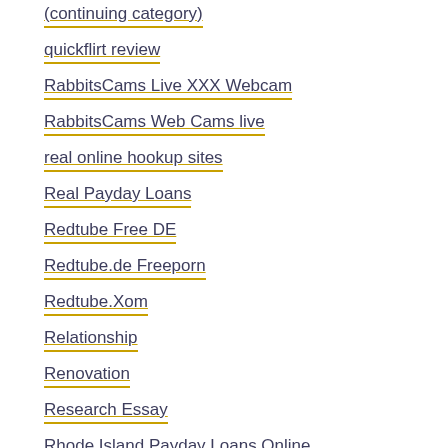(continuing category)
quickflirt review
RabbitsCams Live XXX Webcam
RabbitsCams Web Cams live
real online hookup sites
Real Payday Loans
Redtube Free DE
Redtube.de Freeporn
Redtube.Xom
Relationship
Renovation
Research Essay
Rhode Island Payday Loans Online